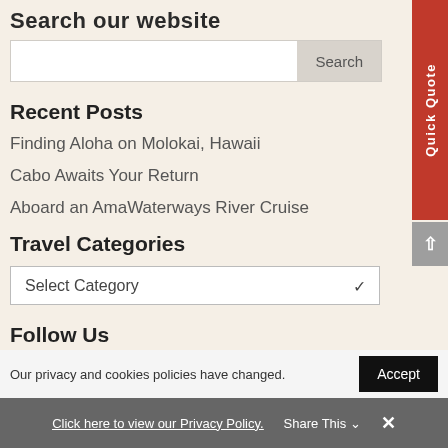Search our website
[Figure (screenshot): Search input box with Search button]
Recent Posts
Finding Aloha on Molokai, Hawaii
Cabo Awaits Your Return
Aboard an AmaWaterways River Cruise
Travel Categories
[Figure (screenshot): Select Category dropdown]
Follow Us
[Figure (screenshot): Social media icon row (blue icons)]
Our privacy and cookies policies have changed.
Click here to view our Privacy Policy.
Share This